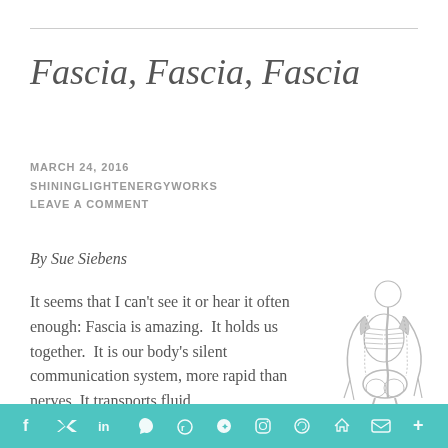Fascia, Fascia, Fascia
MARCH 24, 2016
SHININGLIGHTENERGYWORKS
LEAVE A COMMENT
By Sue Siebens
It seems that I can't see it or hear it often enough: Fascia is amazing.  It holds us together.  It is our body's silent communication system, more rapid than nerves. It transports fluid
[Figure (illustration): Anatomical illustration of a human skeleton and musculature viewed from behind/side]
f  Twitter  in  Pinterest  Reddit  WhatsApp  Instagram  Messenger  Share  Email  +